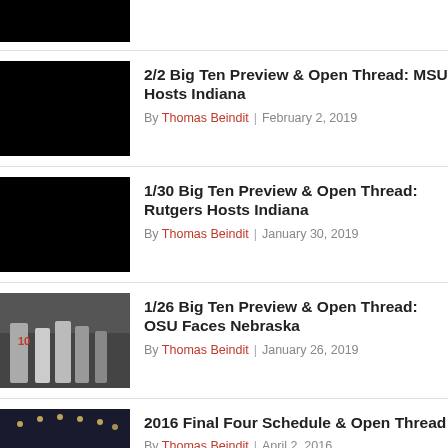[Figure (photo): Partial black thumbnail image at top of page]
[Figure (photo): Black thumbnail image for MSU Hosts Indiana article]
2/2 Big Ten Preview & Open Thread: MSU Hosts Indiana
By Thomas Beindit | February 2, 2019
[Figure (photo): Black thumbnail image for Rutgers Hosts Indiana article]
1/30 Big Ten Preview & Open Thread: Rutgers Hosts Indiana
By Thomas Beindit | January 30, 2019
[Figure (photo): Basketball game photo for OSU Faces Nebraska article]
1/26 Big Ten Preview & Open Thread: OSU Faces Nebraska
By Thomas Beindit | January 26, 2019
[Figure (photo): Arena crowd photo for 2016 Final Four article]
2016 Final Four Schedule & Open Thread
By Thomas Beindit | April 2, 2016